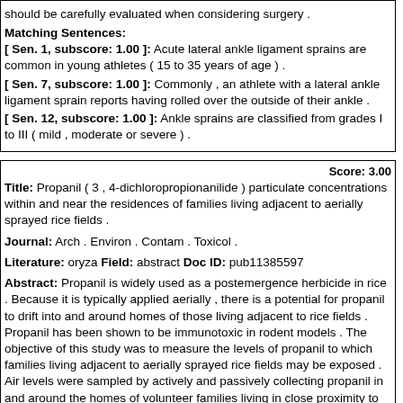should be carefully evaluated when considering surgery .
Matching Sentences:
[ Sen. 1, subscore: 1.00 ]: Acute lateral ankle ligament sprains are common in young athletes ( 15 to 35 years of age ) .
[ Sen. 7, subscore: 1.00 ]: Commonly , an athlete with a lateral ankle ligament sprain reports having rolled over the outside of their ankle .
[ Sen. 12, subscore: 1.00 ]: Ankle sprains are classified from grades I to III ( mild , moderate or severe ) .
Score: 3.00
Title: Propanil ( 3 , 4-dichloropropionanilide ) particulate concentrations within and near the residences of families living adjacent to aerially sprayed rice fields .
Journal: Arch . Environ . Contam . Toxicol .
Literature: oryza Field: abstract Doc ID: pub11385597
Abstract: Propanil is widely used as a postemergence herbicide in rice . Because it is typically applied aerially , there is a potential for propanil to drift into and around homes of those living adjacent to rice fields . Propanil has been shown to be immunotoxic in rodent models . The objective of this study was to measure the levels of propanil to which families living adjacent to aerially sprayed rice fields may be exposed . Air levels were sampled by actively and passively collecting propanil in and around the homes of volunteer families living in close proximity to rice fields sprayed with propanil . Homes ranged from 73 m to 113 m from treated rice fields . Sampling was conducted in the home , adjacent to the home ( within 5 m of the home ) , 30 m from the home , and at the edge of the rice field . Concentrations were determined via gas chromatography/mass spectroscopy . Propanil levels adjacent to the homes were...